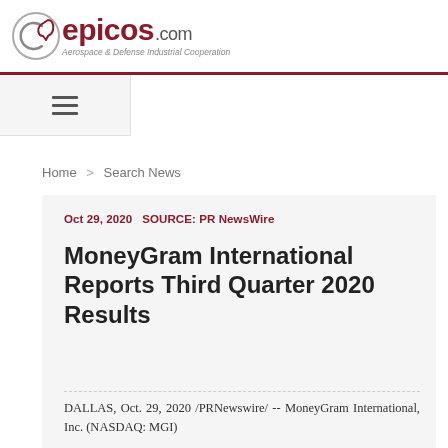epicos.com — Aerospace & Defense Industrial Cooperation
Home > Search News
Oct 29, 2020   SOURCE: PR NewsWire
MoneyGram International Reports Third Quarter 2020 Results
DALLAS, Oct. 29, 2020 /PRNewswire/ -- MoneyGram International, Inc. (NASDAQ: MGI)